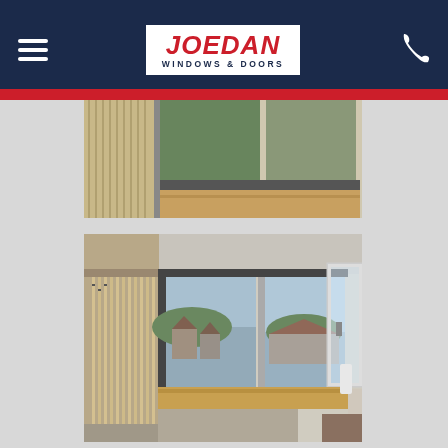JOEDAN WINDOWS & DOORS
[Figure (photo): Interior room photo showing a window sill with vertical blinds, partial view of window frame and wooden sill - top cropped portion]
[Figure (photo): Interior bedroom photo showing open uPVC casement windows with vertical blinds, wooden window sill, and view of residential houses and hills outside]